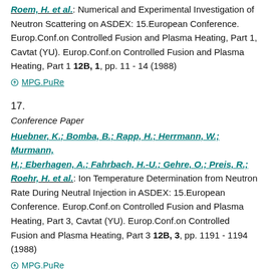Roem, H. et al.: Numerical and Experimental Investigation of Neutron Scattering on ASDEX: 15.European Conference. Europ.Conf.on Controlled Fusion and Plasma Heating, Part 1, Cavtat (YU). Europ.Conf.on Controlled Fusion and Plasma Heating, Part 1 12B, 1, pp. 11 - 14 (1988)
MPG.PuRe
17.
Conference Paper
Huebner, K.; Bomba, B.; Rapp, H.; Herrmann, W.; Murmann, H.; Eberhagen, A.; Fahrbach, H.-U.; Gehre, O.; Preis, R.; Roehr, H. et al.: Ion Temperature Determination from Neutron Rate During Neutral Injection in ASDEX: 15.European Conference. Europ.Conf.on Controlled Fusion and Plasma Heating, Part 3, Cavtat (YU). Europ.Conf.on Controlled Fusion and Plasma Heating, Part 3 12B, 3, pp. 1191 - 1194 (1988)
MPG.PuRe